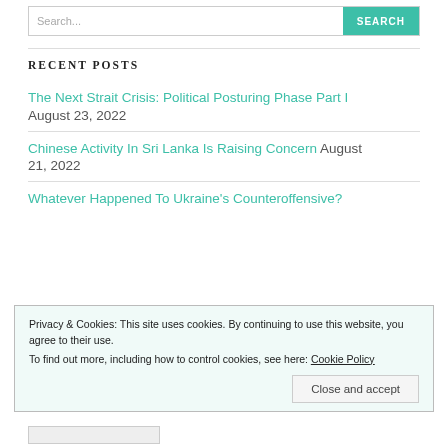Search...
RECENT POSTS
The Next Strait Crisis: Political Posturing Phase Part I — August 23, 2022
Chinese Activity In Sri Lanka Is Raising Concern — August 21, 2022
Whatever Happened To Ukraine's Counteroffensive?
Privacy & Cookies: This site uses cookies. By continuing to use this website, you agree to their use. To find out more, including how to control cookies, see here: Cookie Policy
Close and accept